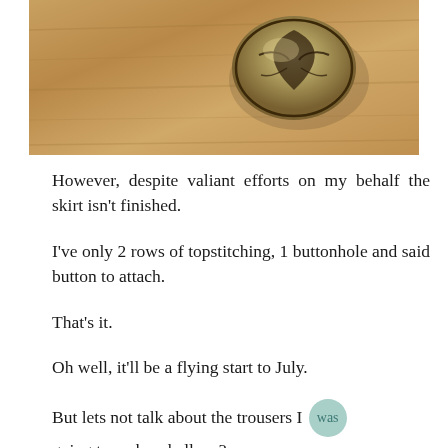[Figure (photo): Close-up photo of a decorative button with engraved leaf/floral pattern in dark metal, sitting on a warm wooden surface]
However, despite valiant efforts on my behalf the skirt isn't finished.
I've only 2 rows of topstitching, 1 buttonhole and said button to attach.
That's it.
Oh well, it'll be a flying start to July.
But lets not talk about the trousers I was going to make, shall we?